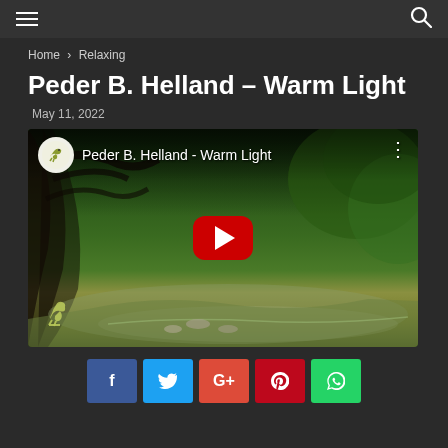Navigation header with hamburger menu and search icon
Home › Relaxing
Peder B. Helland – Warm Light
May 11, 2022
[Figure (screenshot): YouTube embedded video thumbnail showing a forest creek scene with lush green trees. Channel logo (bird on branch) and title 'Peder B. Helland - Warm Light' shown in top bar. Large red YouTube play button in center. Channel watermark logo in bottom left corner.]
Social share buttons: Facebook, Twitter, Google+, Pinterest, WhatsApp